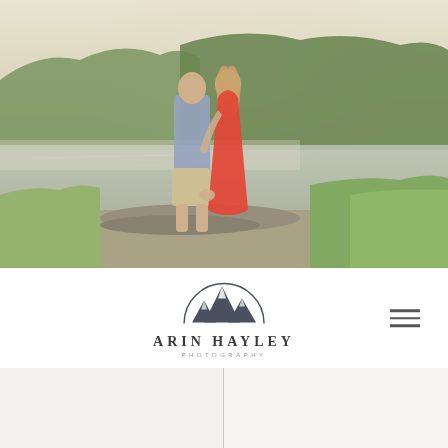[Figure (photo): Couple standing together on rocks by a calm lake; man wearing blue shirt and khaki shorts, woman wearing a long red dress; lush green trees and misty hills in background]
[Figure (logo): Arin Hayley Photography logo — mountain range silhouette inside a semicircular arc, with 'ARIN HAYLEY' in bold spaced serif letters and 'PHOTOGRAPHY' in small spaced sans-serif below]
[Figure (other): Hamburger menu icon (three horizontal lines) in the top-right of the navigation bar]
[Figure (other): Two light beige/cream rectangular panels side by side at the bottom of the page, separated by a vertical line]